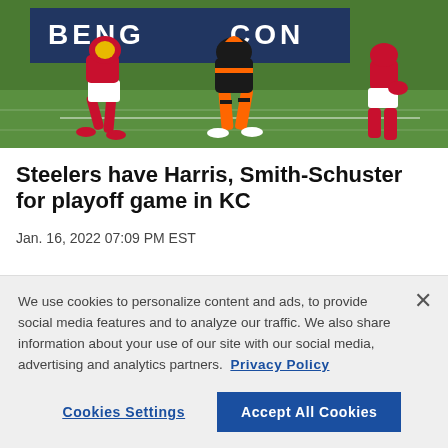[Figure (photo): Football players on a green field, one in red Kansas City Chiefs uniform and one in black and orange Cincinnati Bengals uniform, with 'BENG' and 'CON' text visible on a banner in background]
Steelers have Harris, Smith-Schuster for playoff game in KC
Jan. 16, 2022 07:09 PM EST
We use cookies to personalize content and ads, to provide social media features and to analyze our traffic. We also share information about your use of our site with our social media, advertising and analytics partners.  Privacy Policy
Cookies Settings
Accept All Cookies